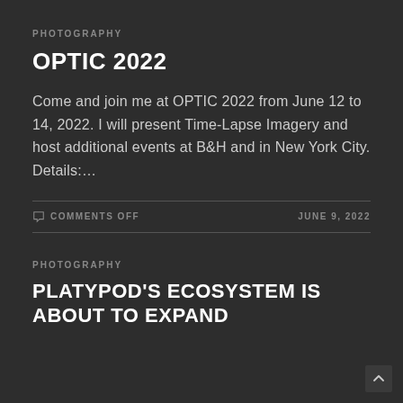PHOTOGRAPHY
OPTIC 2022
Come and join me at OPTIC 2022 from June 12 to 14, 2022. I will present Time-Lapse Imagery and host additional events at B&H and in New York City. Details:…
COMMENTS OFF   JUNE 9, 2022
PHOTOGRAPHY
PLATYPOD'S ECOSYSTEM IS ABOUT TO EXPAND